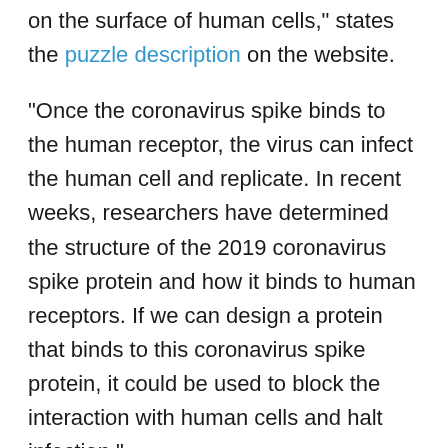on the surface of human cells," states the puzzle description on the website.
“Once the coronavirus spike binds to the human receptor, the virus can infect the human cell and replicate. In recent weeks, researchers have determined the structure of the 2019 coronavirus spike protein and how it binds to human receptors. If we can design a protein that binds to this coronavirus spike protein, it could be used to block the interaction with human cells and halt infection.”
This new puzzle has two different “difficulty levels”. In the easy level, players fold an existing coronavirus binding protein, while the harder level requires the players to design a new protein from scratch. Players